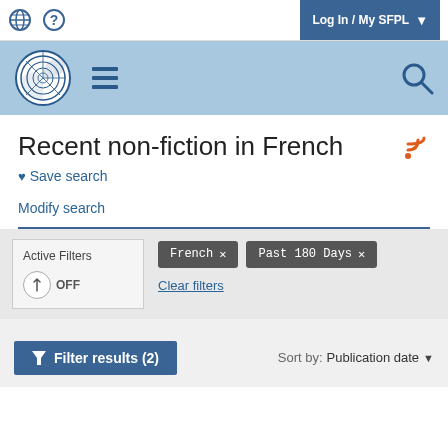Log In / My SFPL
[Figure (screenshot): San Francisco Public Library website header with logo (nautilus shell), hamburger menu, and search icon on blue background]
Recent non-fiction in French
♥ Save search
Modify search
Active Filters  French ×  Past 180 Days ×  OFF  Clear filters
Filter results (2)  Sort by: Publication date